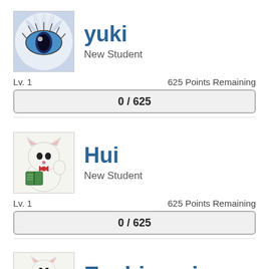[Figure (illustration): Avatar for yuki - stylized eye with blue iris and feathery white lashes]
yuki
New Student
Lv. 1
625 Points Remaining
0 / 625
[Figure (illustration): Avatar for Hui - lucky cat (maneki-neko) holding a book]
Hui
New Student
Lv. 1
625 Points Remaining
0 / 625
[Figure (illustration): Avatar for Ecchiyumi - lucky cat (maneki-neko) holding a book, partially visible]
Ecchiyumi